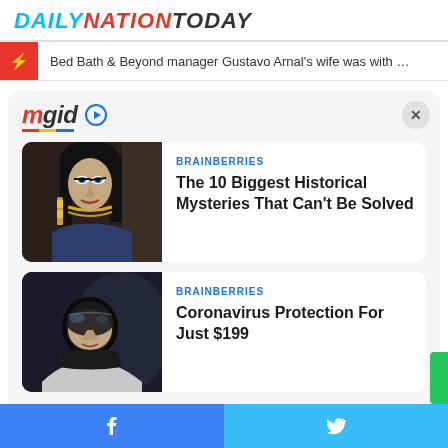DAILYNATIONTODAY
⚡ Bed Bath & Beyond manager Gustavo Arnal's wife was with …
[Figure (logo): mgid logo with play icon]
BRAINBERRIES
[Figure (photo): Woman dressed as Cleopatra]
The 10 Biggest Historical Mysteries That Can't Be Solved
BRAINBERRIES
[Figure (photo): Woman wearing dark mask/visor]
Coronavirus Protection For Just $199